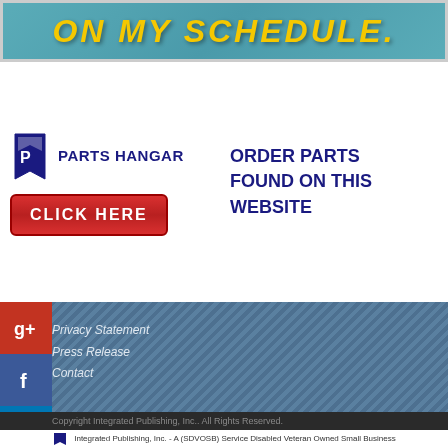[Figure (screenshot): Teal/cyan banner with bold yellow italic text reading ON MY SCHEDULE.]
[Figure (logo): Parts Hangar logo with stylized P icon and text PARTS HANGAR, red CLICK HERE button, and dark blue text ORDER PARTS FOUND ON THIS WEBSITE]
Privacy Statement
Press Release
Contact
Copyright Integrated Publishing, Inc.. All Rights Reserved.
Integrated Publishing, Inc. - A (SDVOSB) Service Disabled Veteran Owned Small Business